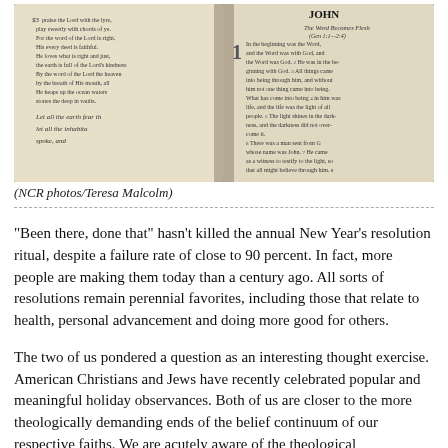[Figure (photo): Open Bible showing pages from Psalms on the left and the Gospel of John on the right, with text visible including 'JOHN' header and 'The Word Becomes Flesh (Gen 1:1-2:4)' subtitle, and verses beginning with 'In the beginning was the Word...']
(NCR photos/Teresa Malcolm)
"Been there, done that" hasn't killed the annual New Year's resolution ritual, despite a failure rate of close to 90 percent. In fact, more people are making them today than a century ago. All sorts of resolutions remain perennial favorites, including those that relate to health, personal advancement and doing more good for others.
The two of us pondered a question as an interesting thought exercise. American Christians and Jews have recently celebrated popular and meaningful holiday observances. Both of us are closer to the more theologically demanding ends of the belief continuum of our respective faiths. We are acutely aware of the theological incompatibility of some of our positions, even if they have not prevented us from enjoying a